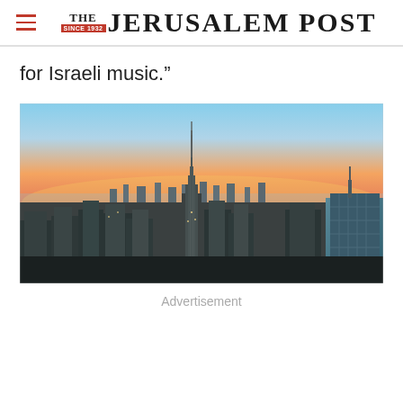THE JERUSALEM POST
for Israeli music.”
[Figure (photo): Aerial cityscape photo of New York City skyline at sunset/dusk with Empire State Building prominent in center, warm orange and pink sky in background]
Advertisement